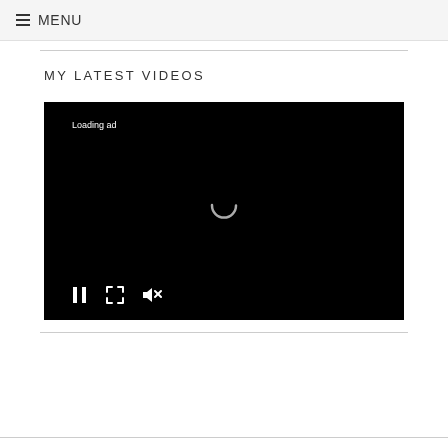≡ MENU
MY LATEST VIDEOS
[Figure (screenshot): Video player with black background showing 'Loading ad' text, a circular spinner in the center, and playback controls (pause, fullscreen, mute) at the bottom left.]